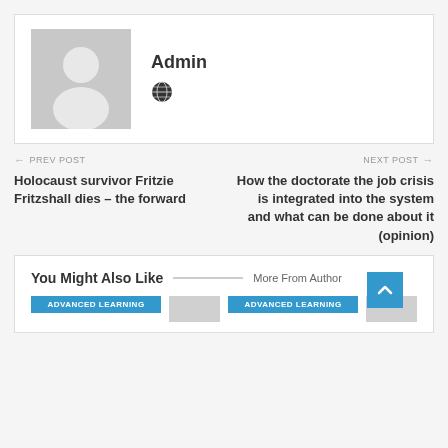[Figure (illustration): Author profile card with grey avatar placeholder image and Admin name with globe icon]
Admin
← PREV POST
Holocaust survivor Fritzie Fritzshall dies – the forward
NEXT POST →
How the doctorate the job crisis is integrated into the system and what can be done about it (opinion)
You Might Also Like
More From Author
ADVANCED LEARNING
ADVANCED LEARNING